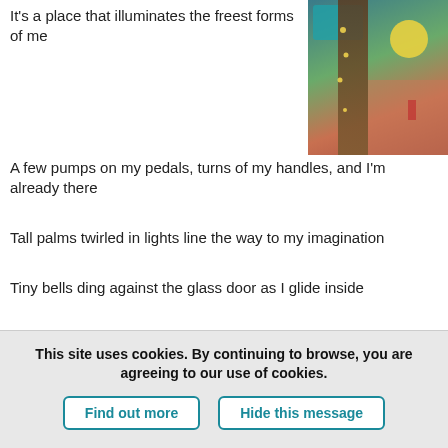It's a place that illuminates the freest forms of me
[Figure (photo): Outdoor scene with palm trees wrapped in lights, teal umbrella, yellow circle accent, warm-toned walkway]
A few pumps on my pedals, turns of my handles, and I'm already there
Tall palms twirled in lights line the way to my imagination
Tiny bells ding against the glass door as I glide inside
Freshly roasted beans percolate through anticipation to perfection
Burlap coffee sacks hang as window shades
Handiwork of local artists accents…
Read and leave comments (6)
This site uses cookies. By continuing to browse, you are agreeing to our use of cookies.
Find out more
Hide this message